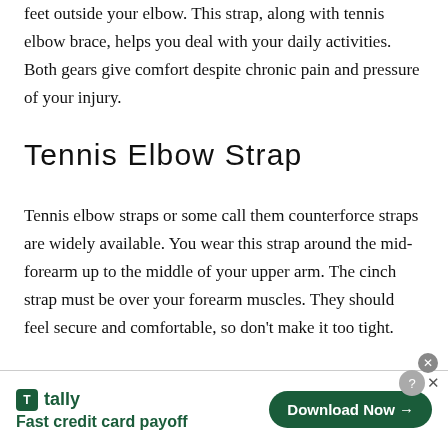feet outside your elbow. This strap, along with tennis elbow brace, helps you deal with your daily activities. Both gears give comfort despite chronic pain and pressure of your injury.
Tennis Elbow Strap
Tennis elbow straps or some call them counterforce straps are widely available. You wear this strap around the mid-forearm up to the middle of your upper arm. The cinch strap must be over your forearm muscles. They should feel secure and comfortable, so don't make it too tight.
[Figure (infographic): Tally app advertisement banner at the bottom of the page. Shows the Tally logo (green icon with 'T'), the text 'tally', tagline 'Fast credit card payoff', and a dark green 'Download Now' button with an arrow. Has a close/help button in the upper right corner.]